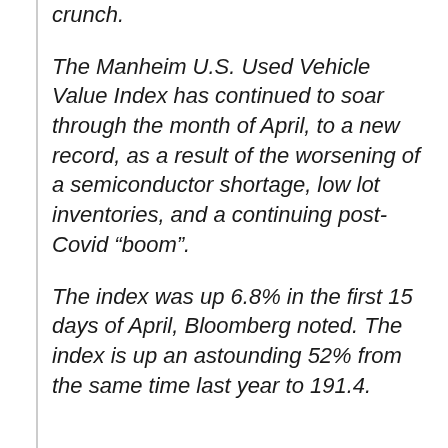crunch.
The Manheim U.S. Used Vehicle Value Index has continued to soar through the month of April, to a new record, as a result of the worsening of a semiconductor shortage, low lot inventories, and a continuing post-Covid “boom”.
The index was up 6.8% in the first 15 days of April, Bloomberg noted. The index is up an astounding 52% from the same time last year to 191.4.